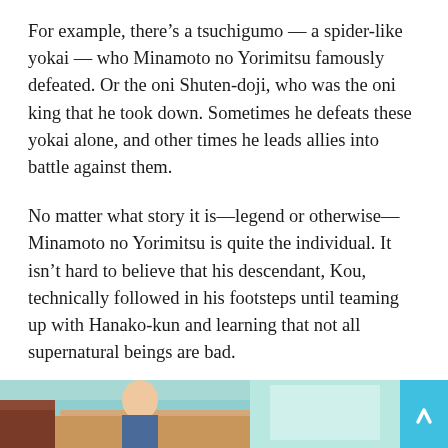For example, there's a tsuchigumo — a spider-like yokai — who Minamoto no Yorimitsu famously defeated. Or the oni Shuten-doji, who was the oni king that he took down. Sometimes he defeats these yokai alone, and other times he leads allies into battle against them.
No matter what story it is—legend or otherwise—Minamoto no Yorimitsu is quite the individual. It isn't hard to believe that his descendant, Kou, technically followed in his footsteps until teaming up with Hanako-kun and learning that not all supernatural beings are bad.
Kitsune, Fox statues, and Inari Shrines
[Figure (illustration): Partial view of an anime-style illustration showing a scene with teal/green background colors, partially visible characters]